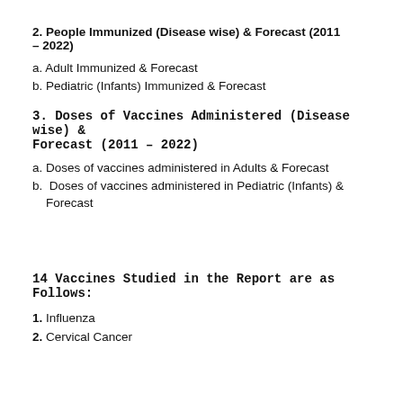2. People Immunized (Disease wise) & Forecast (2011 – 2022)
a. Adult Immunized & Forecast
b. Pediatric (Infants) Immunized & Forecast
3. Doses of Vaccines Administered (Disease wise) & Forecast (2011 – 2022)
a. Doses of vaccines administered in Adults & Forecast
b. Doses of vaccines administered in Pediatric (Infants) & Forecast
14 Vaccines Studied in the Report are as Follows:
1. Influenza
2. Cervical Cancer